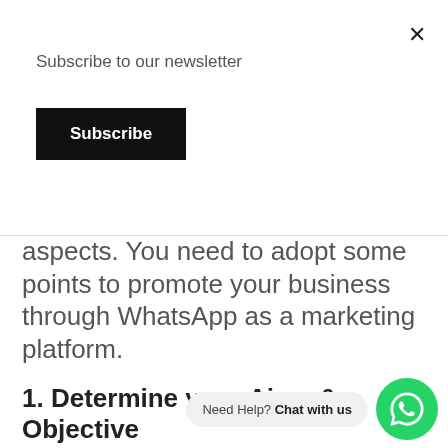Subscribe to our newsletter
Subscribe
aspects. You need to adopt some points to promote your business through WhatsApp as a marketing platform.
1. Determine your Aims & Objective
On WhatsApp Marketing, first, you have to set your marketing Aims & Objections. Only then can you focus on your actual bu… e… would be best if you analyze your marketing behavior, and at the same